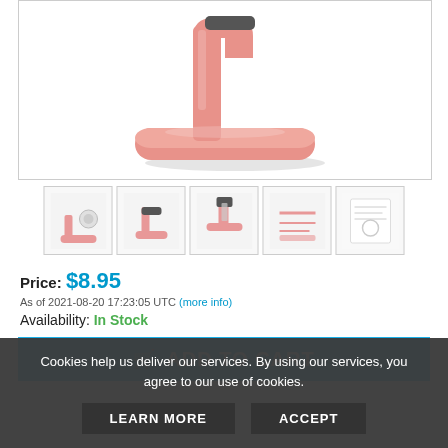[Figure (photo): Pink/rose gold desk phone or tablet stand viewed from the side, showing an L-shaped arm with a padded base]
[Figure (photo): Thumbnail 1: product packaging shot of the pink stand]
[Figure (photo): Thumbnail 2: side view of pink stand]
[Figure (photo): Thumbnail 3: stand holding a device, front view]
[Figure (photo): Thumbnail 4: stand components diagram]
[Figure (photo): Thumbnail 5: instruction sheet or manual]
Price: $8.95
As of 2021-08-20 17:23:05 UTC (more info)
Availability: In Stock
ADD TO CART
Cookies help us deliver our services. By using our services, you agree to our use of cookies.
LEARN MORE
ACCEPT